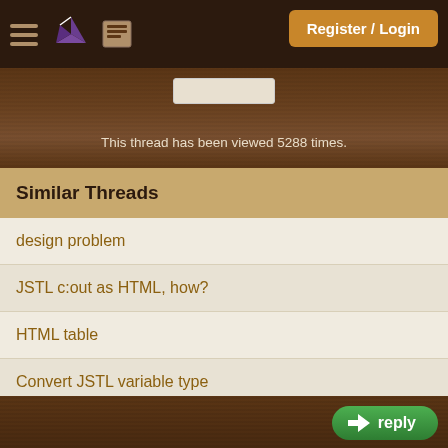Register / Login
This thread has been viewed 5288 times.
Similar Threads
design problem
JSTL c:out as HTML, how?
HTML table
Convert JSTL variable type
sql:query in jsp
More...